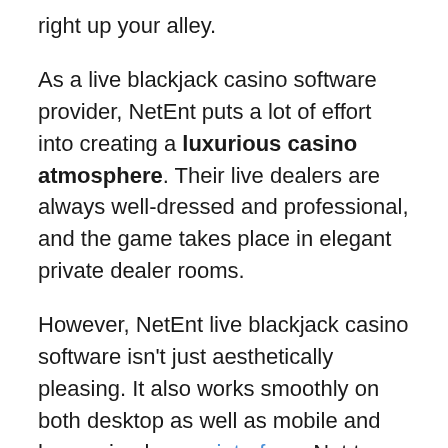right up your alley.
As a live blackjack casino software provider, NetEnt puts a lot of effort into creating a luxurious casino atmosphere. Their live dealers are always well-dressed and professional, and the game takes place in elegant private dealer rooms.
However, NetEnt live blackjack casino software isn't just aesthetically pleasing. It also works smoothly on both desktop as well as mobile and has a simple user interface. Not to mention, all NetEnt blackjack games are streamed in real-time in HD, so you won't miss a thing.
To try your luck at a NetEnt live blackjack